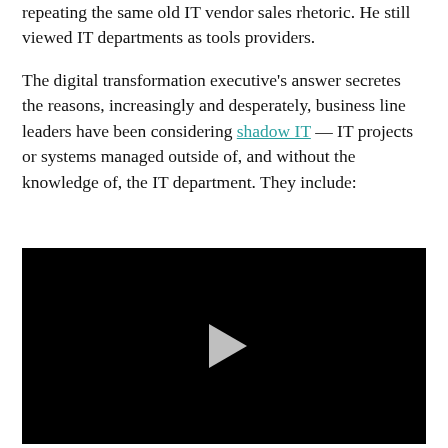repeating the same old IT vendor sales rhetoric. He still viewed IT departments as tools providers.
The digital transformation executive's answer secretes the reasons, increasingly and desperately, business line leaders have been considering shadow IT — IT projects or systems managed outside of, and without the knowledge of, the IT department. They include:
[Figure (other): Black video player with a white play button (triangle) in the center]